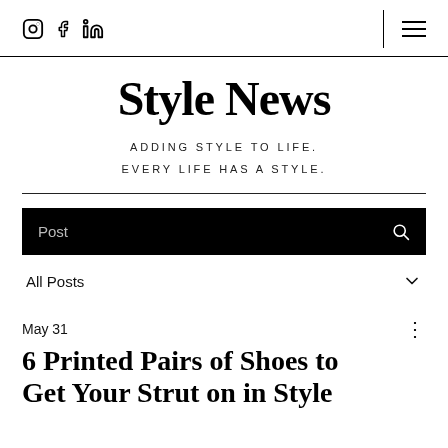Instagram | Facebook | LinkedIn | Menu
Style News
ADDING STYLE TO LIFE. EVERY LIFE HAS A STYLE.
Post
All Posts
May 31
6 Printed Pairs of Shoes to Get Your Strut on in Style